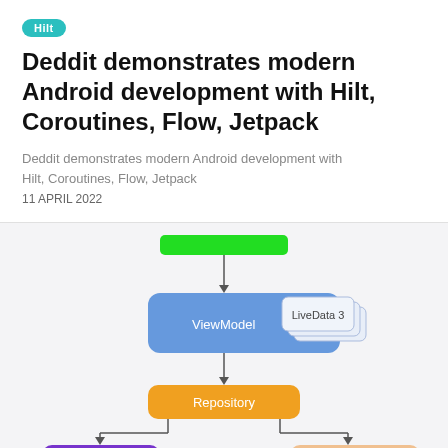Hilt
Deddit demonstrates modern Android development with Hilt, Coroutines, Flow, Jetpack
Deddit demonstrates modern Android development with Hilt, Coroutines, Flow, Jetpack
11 APRIL 2022
[Figure (flowchart): Android architecture flowchart showing: green bar at top connecting down to ViewModel (blue box with LiveData 3), then to Repository (orange box), then branching left to Model (purple box with Room) and right to Remote Data Source (peach box with Retrofit), with further connections below cut off.]